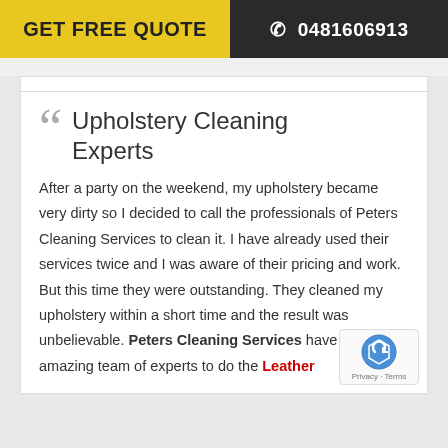GET FREE QUOTE  ☎ 0481606913
Upholstery Cleaning Experts
After a party on the weekend, my upholstery became very dirty so I decided to call the professionals of Peters Cleaning Services to clean it. I have already used their services twice and I was aware of their pricing and work. But this time they were outstanding. They cleaned my upholstery within a short time and the result was unbelievable. Peters Cleaning Services have got an amazing team of experts to do the Leather
[Figure (logo): reCAPTCHA logo with Privacy - Terms text]